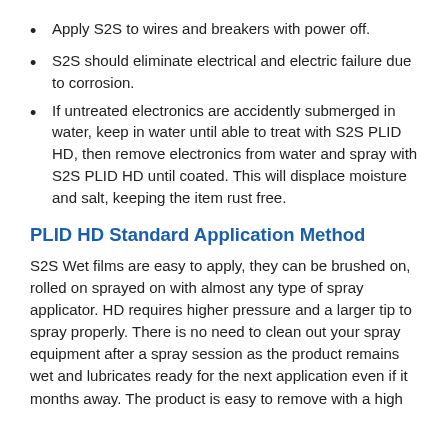Apply S2S to wires and breakers with power off.
S2S should eliminate electrical and electric failure due to corrosion.
If untreated electronics are accidently submerged in water, keep in water until able to treat with S2S PLID HD, then remove electronics from water and spray with S2S PLID HD until coated. This will displace moisture and salt, keeping the item rust free.
PLID HD Standard Application Method
S2S Wet films are easy to apply, they can be brushed on, rolled on sprayed on with almost any type of spray applicator. HD requires higher pressure and a larger tip to spray properly. There is no need to clean out your spray equipment after a spray session as the product remains wet and lubricates ready for the next application even if it months away. The product is easy to remove with a high